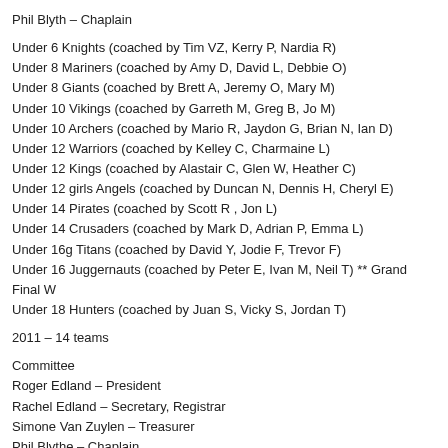Phil Blyth – Chaplain
Under 6 Knights (coached by Tim VZ, Kerry P, Nardia R)
Under 8 Mariners (coached by Amy D, David L, Debbie O)
Under 8 Giants (coached by Brett A, Jeremy O, Mary M)
Under 10 Vikings (coached by Garreth M, Greg B, Jo M)
Under 10 Archers (coached by Mario R, Jaydon G, Brian N, Ian D)
Under 12 Warriors (coached by Kelley C, Charmaine L)
Under 12 Kings (coached by Alastair C, Glen W, Heather C)
Under 12 girls Angels (coached by Duncan N, Dennis H, Cheryl E)
Under 14 Pirates (coached by Scott R , Jon L)
Under 14 Crusaders (coached by Mark D, Adrian P, Emma L)
Under 16g Titans (coached by David Y, Jodie F, Trevor F)
Under 16 Juggernauts (coached by Peter E, Ivan M, Neil T) ** Grand Final W
Under 18 Hunters (coached by Juan S, Vicky S, Jordan T)
2011 – 14 teams
Committee
Roger Edland – President
Rachel Edland – Secretary, Registrar
Simone Van Zuylen – Treasurer
Phil Blythe – Chaplain